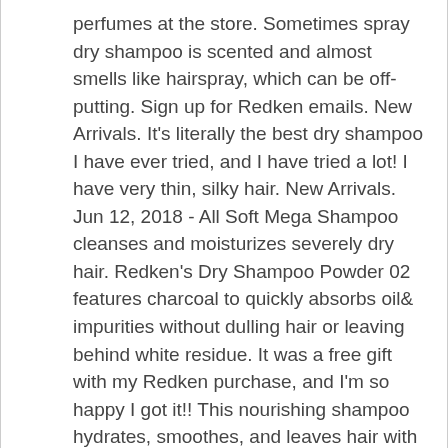perfumes at the store. Sometimes spray dry shampoo is scented and almost smells like hairspray, which can be off-putting. Sign up for Redken emails. New Arrivals. It's literally the best dry shampoo I have ever tried, and I have tried a lot! I have very thin, silky hair. New Arrivals. Jun 12, 2018 - All Soft Mega Shampoo cleanses and moisturizes severely dry hair. Redken's Dry Shampoo Powder 02 features charcoal to quickly absorbs oil& impurities without dulling hair or leaving behind white residue. It was a free gift with my Redken purchase, and I'm so happy I got it!! This nourishing shampoo hydrates, smoothes, and leaves hair with a soft and shiny finish. Works as advertised. I tried this on a whim and I will never use another one. 4.80 out of 5 stars (4 reviews) SoCozy. Opens in a new window. This professional product leaves hair healthy, nourished,